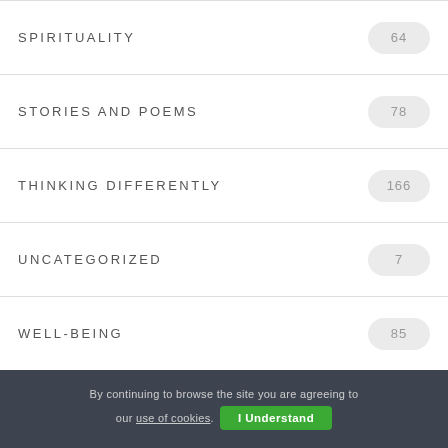SPIRITUALITY 64
STORIES AND POEMS 78
THINKING DIFFERENTLY 166
UNCATEGORIZED 7
WELL-BEING 85
WOMEN 74
WORK 40
By continuing to browse the site you are agreeing to our use of cookies.
I Understand